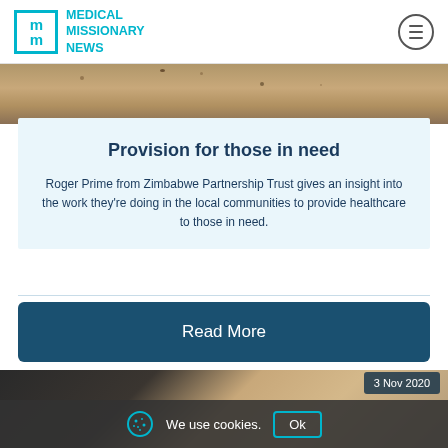MEDICAL MISSIONARY NEWS
[Figure (photo): Sandy ground/earth texture photo strip at top of article card]
Provision for those in need
Roger Prime from Zimbabwe Partnership Trust gives an insight into the work they're doing in the local communities to provide healthcare to those in need.
Read More
[Figure (photo): Partial photo of a person at the bottom of the page, with a date badge showing '3 Nov 2020']
We use cookies.